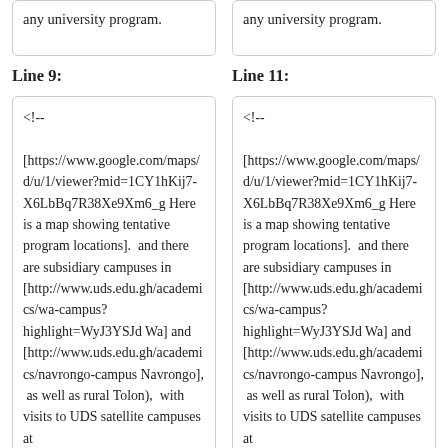any university program.
any university program.
Line 9:
Line 11:
<!-- [https://www.google.com/maps/d/u/1/viewer?mid=1CY1hKij7-X6LbBq7R38Xe9Xm6_g Here is a map showing tentative program locations].  and there are subsidiary campuses in [http://www.uds.edu.gh/academics/wa-campus?highlight=WyJ3YSJd Wa] and [http://www.uds.edu.gh/academics/navrongo-campus Navrongo],  as well as rural Tolon),  with visits to UDS satellite campuses at [https://en.wikipedia.org/wiki/Wa,_Ghana Wa] in the Upper West
<!-- [https://www.google.com/maps/d/u/1/viewer?mid=1CY1hKij7-X6LbBq7R38Xe9Xm6_g Here is a map showing tentative program locations].  and there are subsidiary campuses in [http://www.uds.edu.gh/academics/wa-campus?highlight=WyJ3YSJd Wa] and [http://www.uds.edu.gh/academics/navrongo-campus Navrongo],  as well as rural Tolon),  with visits to UDS satellite campuses at [https://en.wikipedia.org/wiki/Wa,_Ghana Wa] in the Upper West